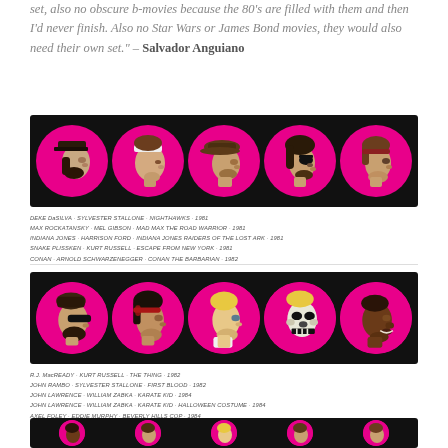set, also no obscure b-movies because the 80's are filled with them and then I'd never finish. Also no Star Wars or James Bond movies, they would also need their own set." – Salvador Anguiano
[Figure (illustration): Black banner with five pink circle portraits of 1980s action movie characters in profile: Deke DaSilva, Max Rockatansky, Indiana Jones, Snake Plissken, Conan]
DEKE DaSILVA · SYLVESTER STALLONE · NIGHTHAWKS · 1981
MAX ROCKATANSKY · MEL GIBSON · MAD MAX THE ROAD WARRIOR · 1981
INDIANA JONES · HARRISON FORD · INDIANA JONES RAIDERS OF THE LOST ARK · 1981
SNAKE PLISSKEN · KURT RUSSELL · ESCAPE FROM NEW YORK · 1981
CONAN · ARNOLD SCHWARZENEGGER · CONAN THE BARBARIAN · 1982
[Figure (illustration): Black banner with five pink circle portraits of 1980s action movie characters in profile: R.J. MacReady, John Rambo, John Lawrence, John Lawrence Halloween Costume, Axel Foley]
R.J. MacREADY · KURT RUSSELL · THE THING · 1982
JOHN RAMBO · SYLVESTER STALLONE · FIRST BLOOD · 1982
JOHN LAWRENCE · WILLIAM ZABKA · KARATE KID · 1984
JOHN LAWRENCE · WILLIAM ZABKA · KARATE KID · HALLOWEEN COSTUME · 1984
AXEL FOLEY · EDDIE MURPHY · BEVERLY HILLS COP · 1984
[Figure (illustration): Partial black banner visible at bottom showing more character portraits]